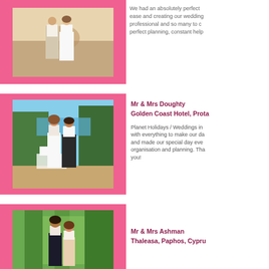[Figure (photo): Wedding couple standing outdoors, bride in white dress, groom in light suit]
We had an absolutely perfect ease and creating our wedding professional and so many to c perfect planning, constant help
[Figure (photo): Wedding couple cutting cake outdoors, bride in white dress, groom in dark suit, blue sea in background]
Mr & Mrs Doughty
Golden Coast Hotel, Prota
Planet Holidays / Weddings in with everything to make our da and made our special day eve organisation and planning. Tha you!
[Figure (photo): Wedding couple outdoors among trees, man in dark suit]
Mr & Mrs Ashman
Thaleasa, Paphos, Cypru